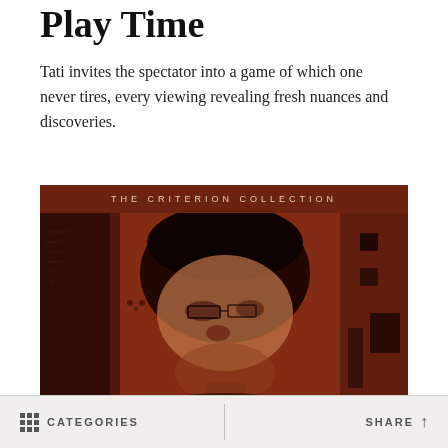Play Time
Tati invites the spectator into a game of which one never tires, every viewing revealing fresh nuances and discoveries.
[Figure (photo): Criterion Collection DVD cover for Play Time featuring a sepia-toned halftone image of a man's face overlaid on dense text, with 'THE CRITERION COLLECTION' text at the top in small spaced lettering on a dark red bar.]
CATEGORIES   SHARE ↑